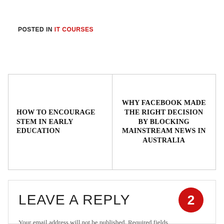POSTED IN IT COURSES
HOW TO ENCOURAGE STEM IN EARLY EDUCATION
WHY FACEBOOK MADE THE RIGHT DECISION BY BLOCKING MAINSTREAM NEWS IN AUSTRALIA
LEAVE A REPLY
Your email address will not be published. Required fields